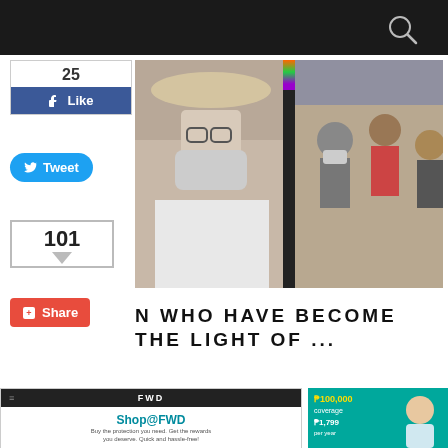[Figure (screenshot): Top navigation bar of a website with dark background and search icon]
[Figure (photo): Facebook Like button showing count of 25 and blue Like button]
[Figure (screenshot): Twitter Tweet button in blue rounded style]
[Figure (screenshot): Google+ Share count box showing 101 with share button below]
[Figure (photo): Two photos side by side: left shows woman with face mask and hat, right shows people at an event wearing masks]
N WHO HAVE BECOME THE LIGHT OF ...
[Figure (screenshot): FWD insurance website screenshot showing Shop@FWD with tagline: Buy the protection you need. Get the rewards you deserve. Quick and hassle-free!]
[Figure (screenshot): FWD insurance ad showing P100,000 coverage for P1,799 per year with smiling person]
[Figure (photo): Partial photo at bottom left]
[Figure (screenshot): FWD insurance ad showing P200,000 coverage for P1,799 per year]